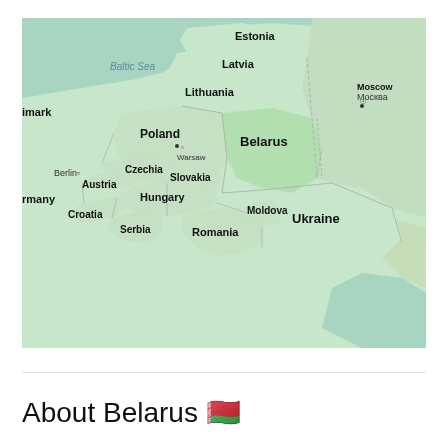[Figure (map): Google Maps style map showing Eastern Europe centered on Belarus, showing neighboring countries: Estonia, Latvia, Lithuania, Poland, Czechia, Slovakia, Austria, Croatia, Serbia, Hungary, Romania, Moldova, Ukraine, and Russia with Moscow labeled. Baltic Sea visible in the upper left. Berlin and Warsaw marked as capitals.]
About Belarus 🇧🇾